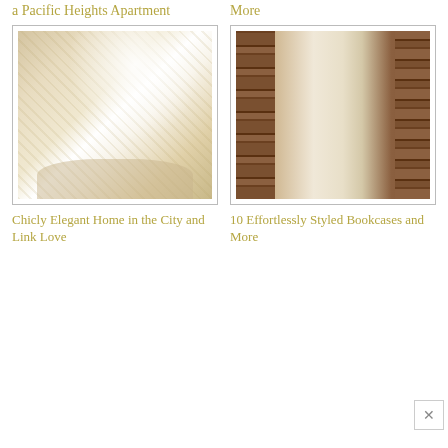a Pacific Heights Apartment
More
[Figure (photo): Bedroom interior with wicker headboard, white bedding, floral wallpaper, crystal chandelier, and mirror with green plant]
[Figure (photo): Living room interior with floor-to-ceiling bookshelves, leather armchairs, and view through doorway to bedroom]
Chicly Elegant Home in the City and Link Love
10 Effortlessly Styled Bookcases and More